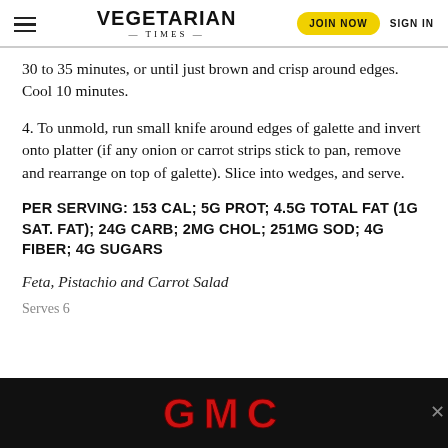VEGETARIAN TIMES | JOIN NOW | SIGN IN
30 to 35 minutes, or until just brown and crisp around edges. Cool 10 minutes.
4. To unmold, run small knife around edges of galette and invert onto platter (if any onion or carrot strips stick to pan, remove and rearrange on top of galette). Slice into wedges, and serve.
PER SERVING: 153 CAL; 5G PROT; 4.5G TOTAL FAT (1G SAT. FAT); 24G CARB; 2MG CHOL; 251MG SOD; 4G FIBER; 4G SUGARS
Feta, Pistachio and Carrot Salad
Serves 6
[Figure (photo): GMC advertisement banner — black background with red GMC logo text and a close (x) button]